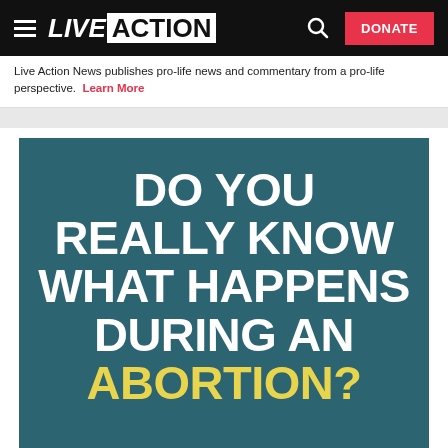LIVE ACTION — navigation bar with hamburger menu, logo, search icon, and DONATE button
Live Action News publishes pro-life news and commentary from a pro-life perspective.  Learn More
[Figure (infographic): Teal/dark cyan background infographic with large bold white text reading 'DO YOU REALLY KNOW WHAT HAPPENS DURING AN' and the word 'ABORTION?' in yellow/gold bold text. A white rounded button shape appears at the bottom.]